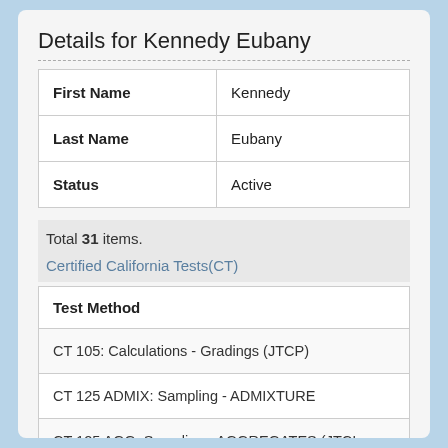Details for Kennedy Eubany
| First Name | Kennedy |
| --- | --- |
| Last Name | Eubany |
| Status | Active |
Total 31 items.
Certified California Tests(CT)
| Test Method |
| --- |
| CT 105: Calculations - Gradings (JTCP) |
| CT 125 ADMIX: Sampling - ADMIXTURE |
| CT 125 AGG: Sampling - AGGREGATES (JTCP) |
| CT 125 BIT: Sampling - BITUMINOUS |